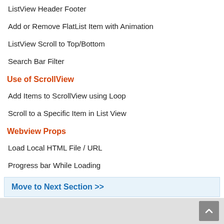ListView Header Footer
Add or Remove FlatList Item with Animation
ListView Scroll to Top/Bottom
Search Bar Filter
Use of ScrollView
Add Items to ScrollView using Loop
Scroll to a Specific Item in List View
Webview Props
Load Local HTML File / URL
Progress bar While Loading
Move to Next Section >>